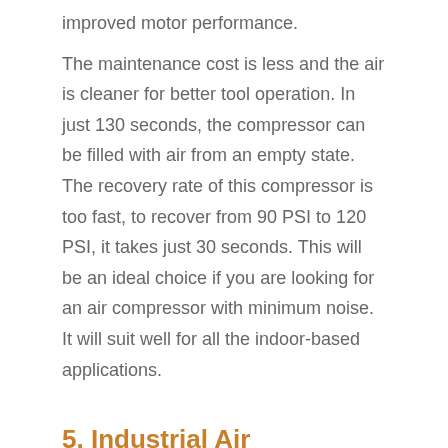improved motor performance.
The maintenance cost is less and the air is cleaner for better tool operation. In just 130 seconds, the compressor can be filled with air from an empty state. The recovery rate of this compressor is too fast, to recover from 90 PSI to 120 PSI, it takes just 30 seconds. This will be an ideal choice if you are looking for an air compressor with minimum noise. It will suit well for all the indoor-based applications.
5. Industrial Air ILA1883054 30-Gallon Belt Driven